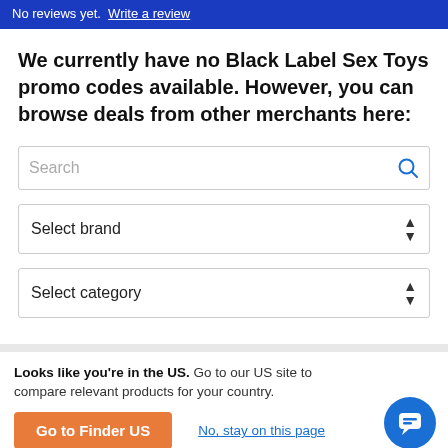No reviews yet. Write a review
We currently have no Black Label Sex Toys promo codes available. However, you can browse deals from other merchants here:
Search
Select brand
Select category
Looks like you're in the US. Go to our US site to compare relevant products for your country.
Go to Finder US
No, stay on this page